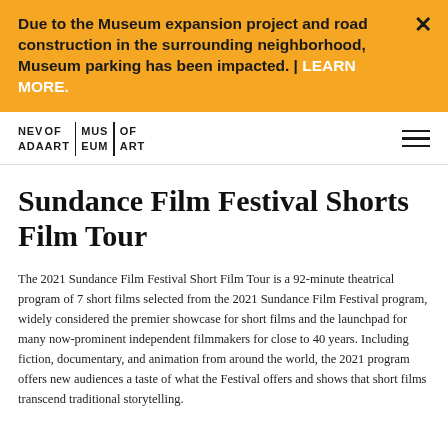Due to the Museum expansion project and road construction in the surrounding neighborhood, Museum parking has been impacted. | LEARN MORE.
NEV ADA MUS EUM OF ART
Sundance Film Festival Shorts Film Tour
The 2021 Sundance Film Festival Short Film Tour is a 92-minute theatrical program of 7 short films selected from the 2021 Sundance Film Festival program, widely considered the premier showcase for short films and the launchpad for many now-prominent independent filmmakers for close to 40 years. Including fiction, documentary, and animation from around the world, the 2021 program offers new audiences a taste of what the Festival offers and shows that short films transcend traditional storytelling.